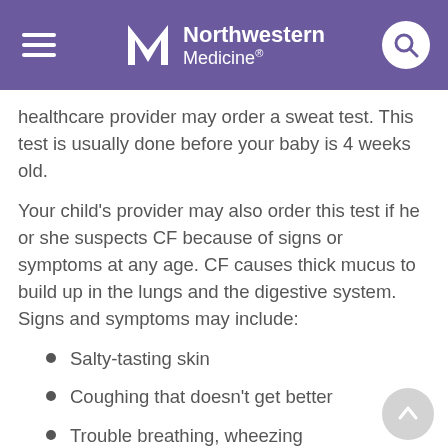Northwestern Medicine
healthcare provider may order a sweat test. This test is usually done before your baby is 4 weeks old.
Your child's provider may also order this test if he or she suspects CF because of signs or symptoms at any age. CF causes thick mucus to build up in the lungs and the digestive system. Signs and symptoms may include:
Salty-tasting skin
Coughing that doesn't get better
Trouble breathing, wheezing
Failure to gain weight even with a good